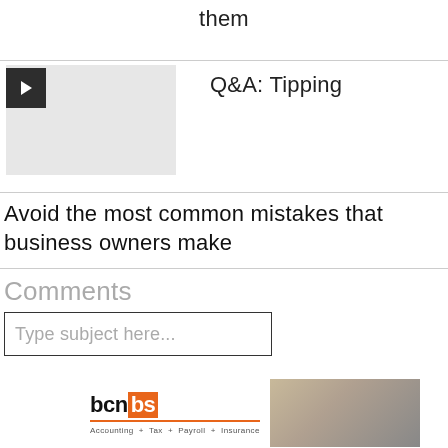them
[Figure (screenshot): Video thumbnail with play button showing Q&A: Tipping]
Q&A: Tipping
Avoid the most common mistakes that business owners make
Comments
Type subject here...
[Figure (logo): bcn|bs logo with Accounting + Tax + Payroll + Insurance tagline, next to a photo of two business professionals]